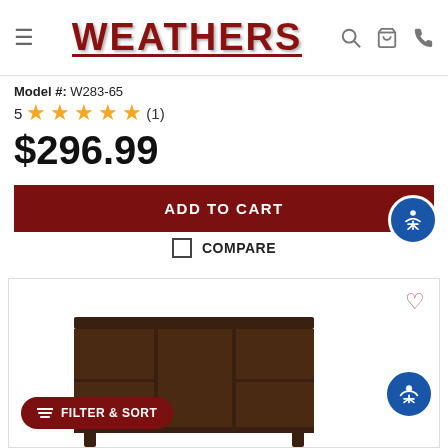WEATHERS - navigation header with logo, search, cart, phone icons
Model #: W283-65
5 ★★★★★ (1)
$296.99
ADD TO CART
COMPARE
[Figure (photo): Dark espresso wood TV stand / entertainment center with open shelving compartments, partially visible]
FILTER & SORT